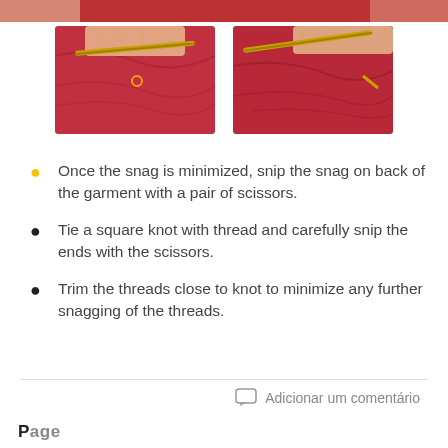[Figure (photo): Top cropped photo strip showing red fabric and hands with a needle/tool, partially visible at top of page]
[Figure (photo): Left photo: Close-up of hands using a needle tool on red fabric, with a small orange circle marking a point]
[Figure (photo): Right photo: Close-up of hands using a needle tool on red fabric to work a snag]
Once the snag is minimized, snip the snag on back of the garment with a pair of scissors.
Tie a square knot with thread and carefully snip the ends with the scissors.
Trim the threads close to knot to minimize any further snagging of the threads.
Adicionar um comentário